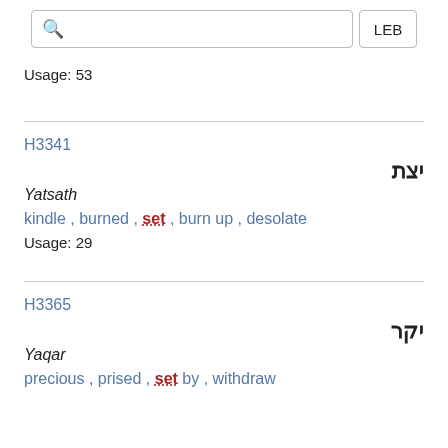Search LEB
Usage: 53
H3341
יצת
Yatsath
kindle , burned , set , burn up , desolate
Usage: 29
H3365
יקר
Yaqar
precious , prised , set by , withdraw